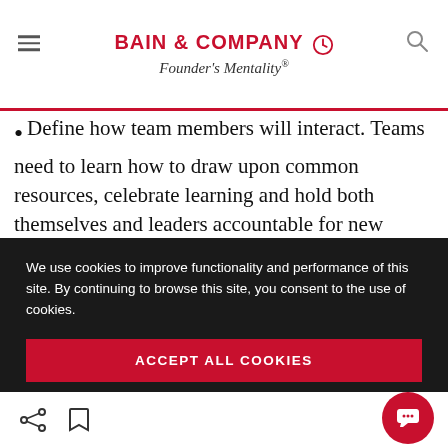BAIN & COMPANY Founder's Mentality®
Define how team members will interact. Teams need to learn how to draw upon common resources, celebrate learning and hold both themselves and leaders accountable for new behaviors.
Identify individual postures, recognize moments of truth and commit to act like
We use cookies to improve functionality and performance of this site. By continuing to browse this site, you consent to the use of cookies.
ACCEPT ALL COOKIES